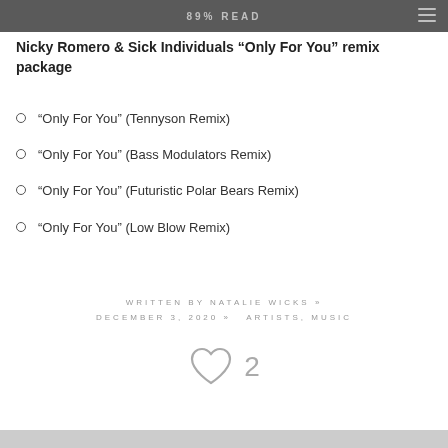89% READ
Nicky Romero & Sick Individuals "Only For You" remix package
“Only For You” (Tennyson Remix)
“Only For You” (Bass Modulators Remix)
“Only For You” (Futuristic Polar Bears Remix)
“Only For You” (Low Blow Remix)
WRITTEN BY NATALIE WICKS » DECEMBER 3, 2020 » ARTISTS, MUSIC
[Figure (illustration): Heart icon with like count of 2]